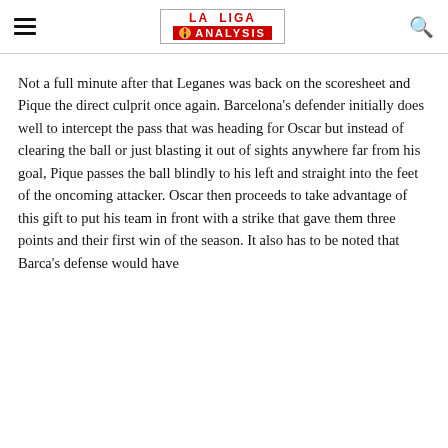LA LIGA ANALYSIS
Not a full minute after that Leganes was back on the scoresheet and Pique the direct culprit once again. Barcelona's defender initially does well to intercept the pass that was heading for Oscar but instead of clearing the ball or just blasting it out of sights anywhere far from his goal, Pique passes the ball blindly to his left and straight into the feet of the oncoming attacker. Oscar then proceeds to take advantage of this gift to put his team in front with a strike that gave them three points and their first win of the season. It also has to be noted that Barca's defense would have